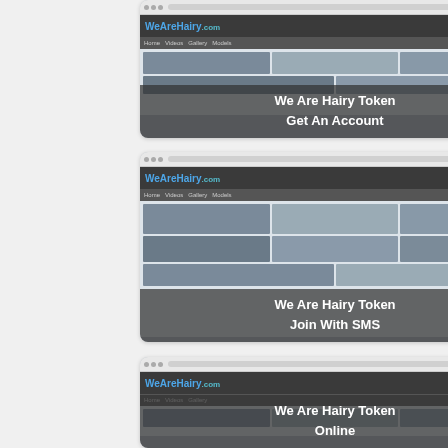[Figure (screenshot): Screenshot of WeAreHairy.com website with overlay text 'We Are Hairy Token Get An Account']
[Figure (screenshot): Screenshot of WeAreHairy.com website with overlay text 'We Are Hairy Token Join With SMS']
[Figure (screenshot): Screenshot of WeAreHairy.com website with overlay text 'We Are Hairy Token Online']